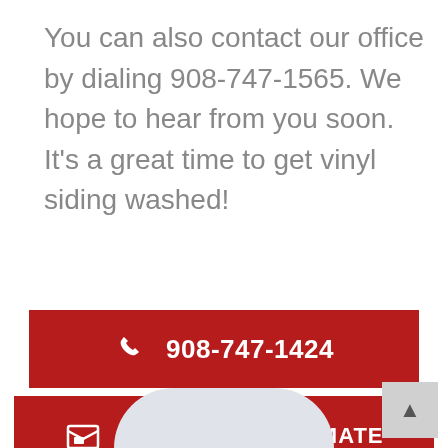You can also contact our office by dialing 908-747-1565. We hope to hear from you soon. It's a great time to get vinyl siding washed!
[Figure (other): Red button with phone icon showing phone number 908-747-1424]
[Figure (other): Red button with envelope icon labeled GET A FREE ESTIMATE]
[Figure (other): Back to top button in bottom right corner and partial circle shape at bottom center]